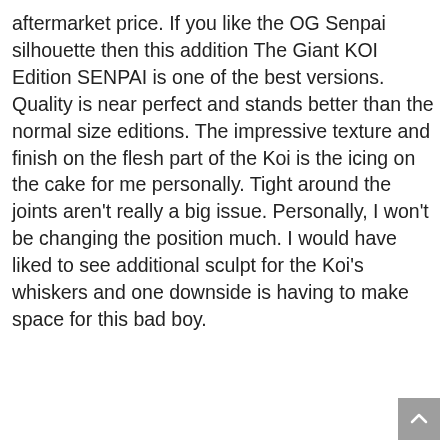aftermarket price. If you like the OG Senpai silhouette then this addition The Giant KOI Edition SENPAI is one of the best versions. Quality is near perfect and stands better than the normal size editions. The impressive texture and finish on the flesh part of the Koi is the icing on the cake for me personally. Tight around the joints aren’t really a big issue. Personally, I won’t be changing the position much. I would have liked to see additional sculpt for the Koi’s whiskers and one downside is having to make space for this bad boy.